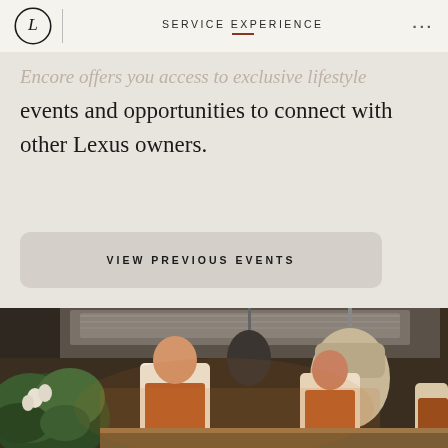SERVICE EXPERIENCE
Encore offers you access to exclusive lifestyle events and opportunities to connect with other Lexus owners.
VIEW PREVIOUS EVENTS
[Figure (photo): Chefs in orange aprons working in a professional kitchen with pendant lamps and green plants in the foreground]